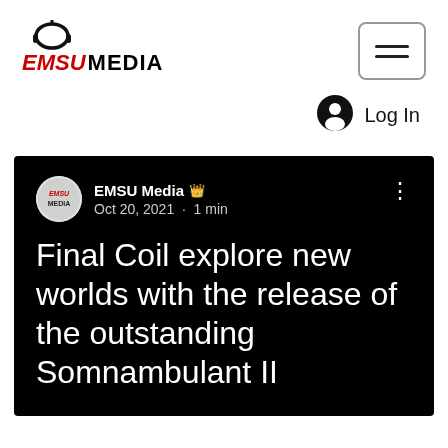[Figure (logo): EMSU Media logo with headphones icon above red italic EMSU and black bold MEDIA text]
[Figure (other): Hamburger menu button with three horizontal lines inside a rounded rectangle border]
[Figure (other): Log In button with user account circle icon and text 'Log In']
[Figure (other): EMSU Media circular logo avatar in white circle on black background]
EMSU Media 🎵 Oct 20, 2021 · 1 min
Final Coil explore new worlds with the release of the outstanding Somnambulant II